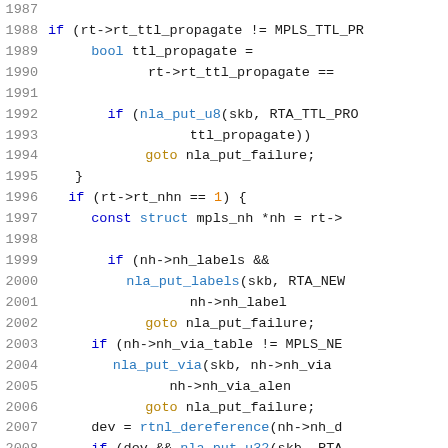[Figure (screenshot): Source code listing showing C code for network routing, lines 1987-2008, with line numbers in grey and syntax highlighting in blue/black/gold]